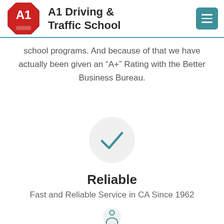[Figure (logo): A1 Driving & Traffic School logo — red octagon with A1 text in white, small car icon below]
A1 Driving & Traffic School
school programs. And because of that we have actually been given an “A+” Rating with the Better Business Bureau.
[Figure (illustration): Circular grey icon with a teal checkmark inside]
Reliable
Fast and Reliable Service in CA Since 1962
[Figure (illustration): Circular grey icon partially visible at bottom of page]